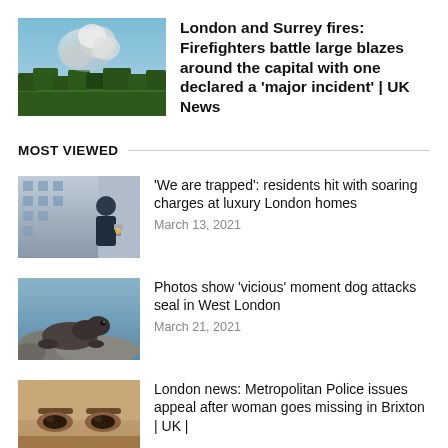[Figure (photo): Aerial photo of smoke rising from a large fire near trees and a capital city landscape]
London and Surrey fires: Firefighters battle large blazes around the capital with one declared a 'major incident' | UK News
MOST VIEWED
[Figure (photo): Man in dark jacket standing near a building, luxury apartments in background]
'We are trapped': residents hit with soaring charges at luxury London homes
March 13, 2021
[Figure (photo): A seal resting near water, West London]
Photos show 'vicious' moment dog attacks seal in West London
March 21, 2021
[Figure (photo): Close-up of a woman's face, eyes and forehead visible]
London news: Metropolitan Police issues appeal after woman goes missing in Brixton | UK |